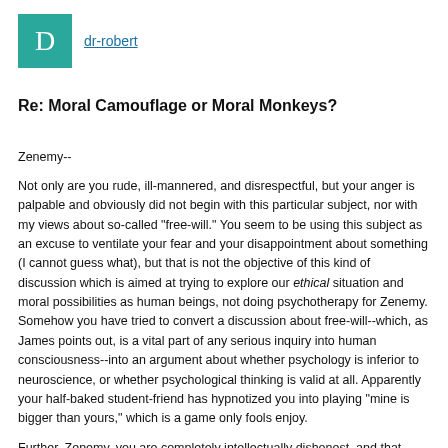[Figure (other): Teal square avatar with white letter D]
dr-robert
Re: Moral Camouflage or Moral Monkeys?
Zenemy--
Not only are you rude, ill-mannered, and disrespectful, but your anger is palpable and obviously did not begin with this particular subject, nor with my views about so-called "free-will." You seem to be using this subject as an excuse to ventilate your fear and your disappointment about something (I cannot guess what), but that is not the objective of this kind of discussion which is aimed at trying to explore our ethical situation and moral possibilities as human beings, not doing psychotherapy for Zenemy. Somehow you have tried to convert a discussion about free-will--which, as James points out, is a vital part of any serious inquiry into human consciousness--into an argument about whether psychology is inferior to neuroscience, or whether psychological thinking is valid at all. Apparently your half-baked student-friend has hypnotized you into playing "mine is bigger than yours," which is a game only fools enjoy.
Further, Zenemy, you are completely intellectually dishonest, and that sticks out like a sore thumb in a discussion thread which has been respectful, intelligent, and open-minded. You asked me to show you some scientific data to back up my idea that free-will may be an illusion. I gave you two links to such data. You failed even to comment, and instead changed the subject to "fearful faces" which has absolutely nothing to do with free-will. Did you even look at the links? I rather hope you did not, because if you did read them and then went on to produce that rant of yours, you are in deep trouble intellectually.